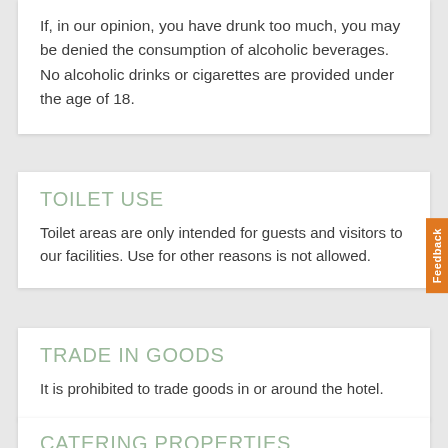If, in our opinion, you have drunk too much, you may be denied the consumption of alcoholic beverages. No alcoholic drinks or cigarettes are provided under the age of 18.
TOILET USE
Toilet areas are only intended for guests and visitors to our facilities. Use for other reasons is not allowed.
TRADE IN GOODS
It is prohibited to trade goods in or around the hotel.
CATERING PROPERTIES